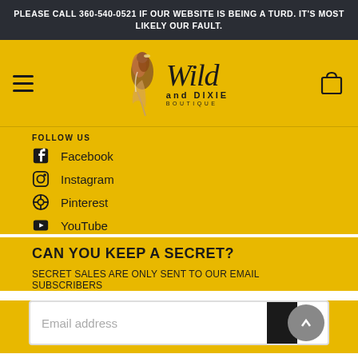PLEASE CALL 360-540-0521 IF OUR WEBSITE IS BEING A TURD. IT'S MOST LIKELY OUR FAULT.
[Figure (logo): Wild and Dixie Boutique logo with decorative feather/bird illustration and stylized text]
FOLLOW US
Facebook
Instagram
Pinterest
YouTube
CAN YOU KEEP A SECRET?
SECRET SALES ARE ONLY SENT TO OUR EMAIL SUBSCRIBERS
Email address